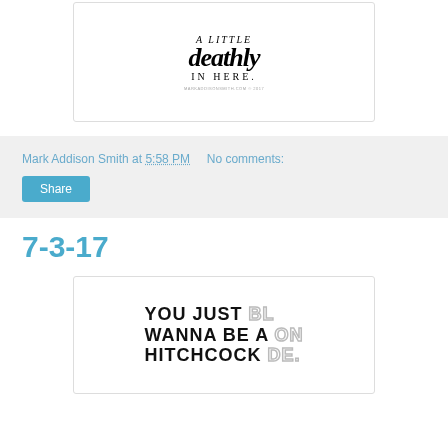[Figure (illustration): White card/print with gothic blackletter text reading 'a little deathly in here.' with a small watermark at the bottom right.]
Mark Addison Smith at 5:58 PM    No comments:
Share
7-3-17
[Figure (illustration): White card/print with bold sans-serif text reading 'YOU JUST BL WANNA BE A ON HITCHCOCK DE.' where some letters appear in gray outline style suggesting the word BLONDE overlaid.]